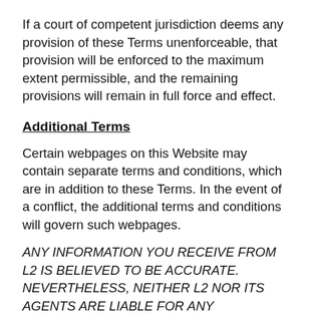If a court of competent jurisdiction deems any provision of these Terms unenforceable, that provision will be enforced to the maximum extent permissible, and the remaining provisions will remain in full force and effect.
Additional Terms
Certain webpages on this Website may contain separate terms and conditions, which are in addition to these Terms. In the event of a conflict, the additional terms and conditions will govern such webpages.
ANY INFORMATION YOU RECEIVE FROM L2 IS BELIEVED TO BE ACCURATE. NEVERTHELESS, NEITHER L2 NOR ITS AGENTS ARE LIABLE FOR ANY DEFICIENCIES IN THE ACCURACY, COMPLETENESS, AVAILABILITY OR TIMELINESS OF SUCH